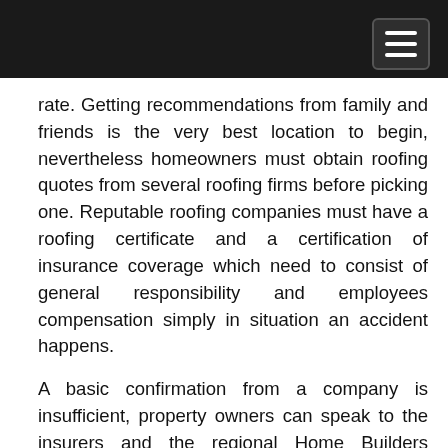rate. Getting recommendations from family and friends is the very best location to begin, nevertheless homeowners must obtain roofing quotes from several roofing firms before picking one. Reputable roofing companies must have a roofing certificate and a certification of insurance coverage which need to consist of general responsibility and employees compensation simply in situation an accident happens.
A basic confirmation from a company is insufficient, property owners can speak to the insurers and the regional Home Builders Association and their Better Business Bureau